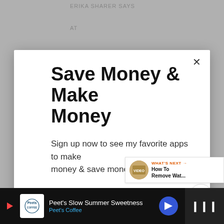ERIKA SHARER SAYS
AT
Save Money & Make Money
Sign up now to see my favorite apps to make money & save money
Email address
Get It Now
[Figure (screenshot): What's Next sidebar with thumbnail image showing How To Remove Wat...]
[Figure (screenshot): Peet's Coffee advertisement bar at bottom: Peet's Slow Summer Sweetness]